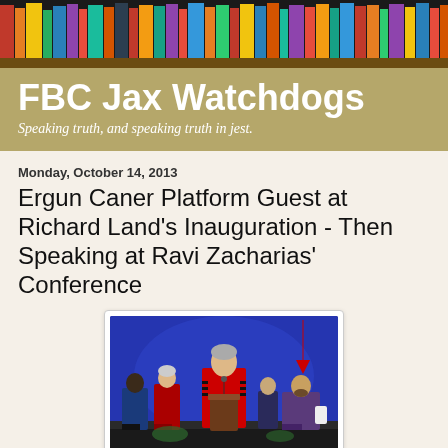[Figure (photo): Colorful book spines on a shelf, serving as decorative header image for blog]
FBC Jax Watchdogs
Speaking truth, and speaking truth in jest.
Monday, October 14, 2013
Ergun Caner Platform Guest at Richard Land's Inauguration - Then Speaking at Ravi Zacharias' Conference
[Figure (photo): A man in red academic regalia speaking at a podium during an inauguration ceremony. Several other people are seated behind him. A red arrow points to a person on the right side of the image.]
The unrepentant Ergun Caner continues his comeback